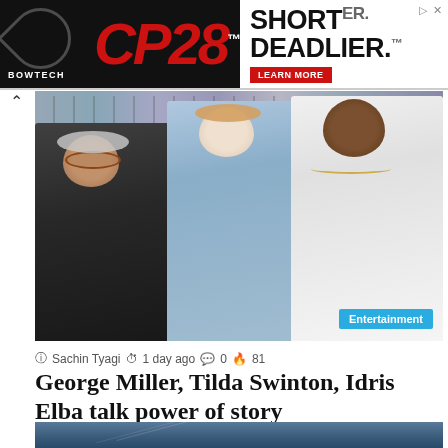[Figure (photo): Advertisement banner for Bowtech CP28 bow: 'SHORTER. DEADLIER.' with Learn More button]
[Figure (photo): Photo of George Miller, Tilda Swinton, and Idris Elba posing together at what appears to be a Cannes press event with photographers in background. Entertainment badge visible.]
Sachin Tyagi  1 day ago  0  81
George Miller, Tilda Swinton, Idris Elba talk power of story
[Figure (photo): Partial second photo showing blue-gray sky or architectural element]